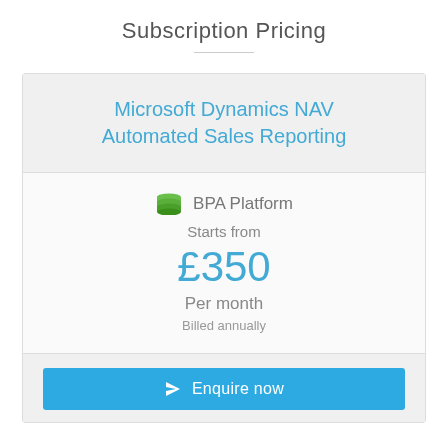Subscription Pricing
Microsoft Dynamics NAV Automated Sales Reporting
BPA Platform
Starts from
£350
Per month
Billed annually
Enquire now